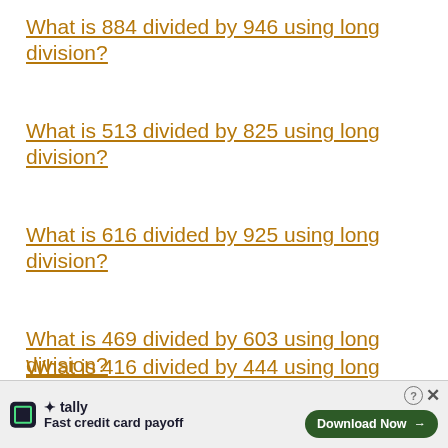What is 884 divided by 946 using long division?
What is 513 divided by 825 using long division?
What is 616 divided by 925 using long division?
What is 469 divided by 603 using long division?
What is 416 divided by 444 using long division?
Wha...
[Figure (infographic): Advertisement banner for Tally app: 'Fast credit card payoff' with a Download Now button and close controls]